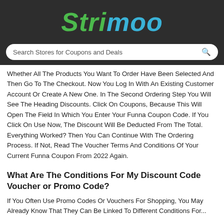Strimoo
Search Stores for Coupons and Deals
Whether All The Products You Want To Order Have Been Selected And Then Go To The Checkout. Now You Log In With An Existing Customer Account Or Create A New One. In The Second Ordering Step You Will See The Heading Discounts. Click On Coupons, Because This Will Open The Field In Which You Enter Your Funna Coupon Code. If You Click On Use Now, The Discount Will Be Deducted From The Total. Everything Worked? Then You Can Continue With The Ordering Process. If Not, Read The Voucher Terms And Conditions Of Your Current Funna Coupon From 2022 Again.
What Are The Conditions For My Discount Code Voucher or Promo Code?
If You Often Use Promo Codes Or Vouchers For Shopping, You May Already Know That They Can Be Linked To Different Conditions For...